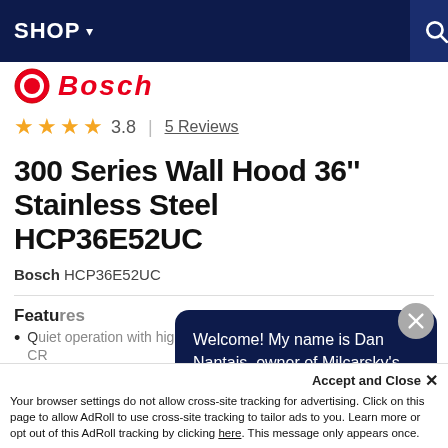SHOP
[Figure (logo): Bosch brand logo with circular emblem and red italic Bosch text]
3.8 | 5 Reviews
300 Series Wall Hood 36'' Stainless Steel HCP36E52UC
Bosch HCP36E52UC
Features
Q... CR...
EN... Ho...
TH...
[Figure (screenshot): Chat popup overlay: Welcome! My name is Dan Nantais, owner of Milcarsky's. How can I assist you today?]
Your browser settings do not allow cross-site tracking for advertising. Click on this page to allow AdRoll to use cross-site tracking to tailor ads to you. Learn more or opt out of this AdRoll tracking by clicking here. This message only appears once.